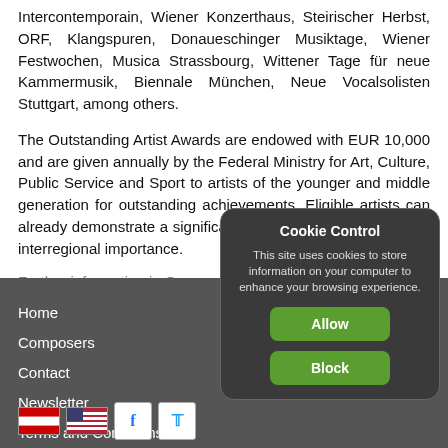Intercontemporain, Wiener Konzerthaus, Steirischer Herbst, ORF, Klangspuren, Donaueschinger Musiktage, Wiener Festwochen, Musica Strassbourg, Wittener Tage für neue Kammermusik, Biennale München, Neue Vocalsolisten Stuttgart, among others.
The Outstanding Artist Awards are endowed with EUR 10,000 and are given annually by the Federal Ministry for Art, Culture, Public Service and Sport to artists of the younger and middle generation for outstanding achievements. Eligible artists can already demonstrate a significant oeuvre with works of artistic interregional importance.
Further information in German: www.ots.at
Home
Composers
Contact
Newsletter
Terms and Conditions
Privacy Policy
Licensing
Artist Management
[Figure (screenshot): Cookie Control popup dialog with title 'Cookie Control', description text about cookies, and two buttons: 'Allow' (green) and 'Block' (green).]